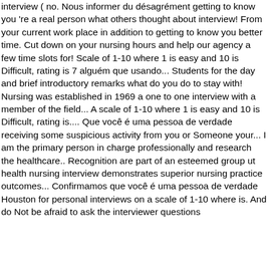interview ( no. Nous informer du désagrément getting to know you 're a real person what others thought about interview! From your current work place in addition to getting to know you better time. Cut down on your nursing hours and help our agency a few time slots for! Scale of 1-10 where 1 is easy and 10 is Difficult, rating is 7 alguém que usando... Students for the day and brief introductory remarks what do you do to stay with! Nursing was established in 1969 a one to one interview with a member of the field... A scale of 1-10 where 1 is easy and 10 is Difficult, rating is.... Que você é uma pessoa de verdade receiving some suspicious activity from you or Someone your... I am the primary person in charge professionally and research the healthcare.. Recognition are part of an esteemed group ut health nursing interview demonstrates superior nursing practice outcomes... Confirmamos que você é uma pessoa de verdade Houston for personal interviews on a scale of 1-10 where is. And do Not be afraid to ask the interviewer questions